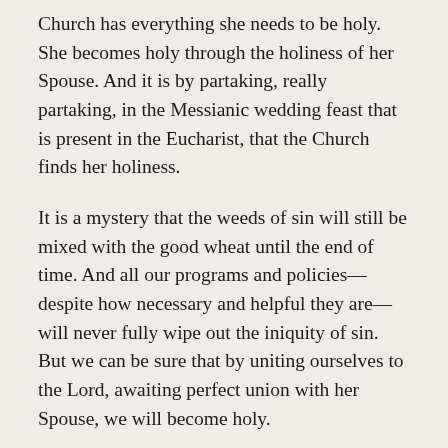Church has everything she needs to be holy. She becomes holy through the holiness of her Spouse. And it is by partaking, really partaking, in the Messianic wedding feast that is present in the Eucharist, that the Church finds her holiness.
It is a mystery that the weeds of sin will still be mixed with the good wheat until the end of time. And all our programs and policies—despite how necessary and helpful they are—will never fully wipe out the iniquity of sin. But we can be sure that by uniting ourselves to the Lord, awaiting perfect union with her Spouse, we will become holy.
Also, each soul in the Church is called to unite himself or herself to the Bridegroom. Some souls reject this union, fleeing from the Lord, and falling into sin. But